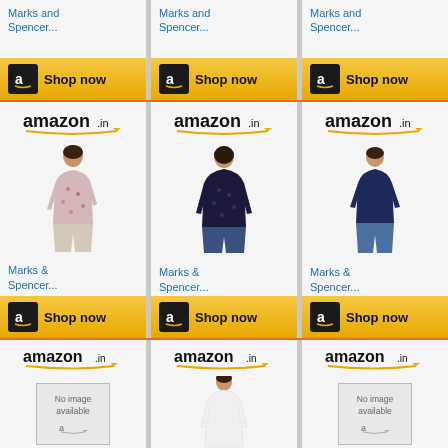[Figure (screenshot): Amazon.in product listing grid showing Marks and Spencer clothing items. Top partial row shows product links and Shop now buttons. Middle row shows three full product cards each with amazon.in logo, women's clothing photos (floral shirt, navy jacket, navy top), Marks & Spencer... product names in blue, and Shop now buttons. Bottom row shows three partial cards with amazon.in logos and product images (no image available, white top, no image available).]